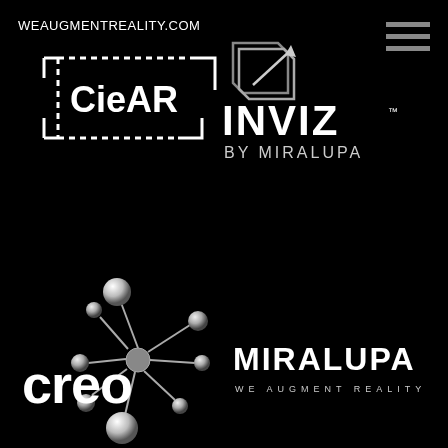[Figure (logo): WEAUGMENTREALITY.COM text link at top left, white serif/sans text on black background]
[Figure (logo): CieAR logo — white text 'CieAR' inside a dashed rectangular bracket frame, on black background]
[Figure (logo): Hamburger menu icon — three horizontal grey bars stacked, top right corner]
[Figure (logo): INVIZ by MIRALUPA logo — stylized geometric diamond/arrow icon above text 'INVIZ' in bold caps and 'BY MIRALUPA' beneath, white on dark]
[Figure (logo): creo logo — white lowercase 'creo' text beside a molecular/node connector graphic with grey spheres, on black background]
[Figure (logo): MIRALUPA logo — bold white caps 'MIRALUPA' with 'WE AUGMENT REALITY' in spaced small caps beneath, on black background]